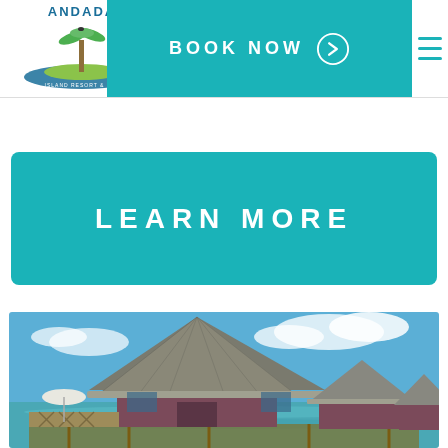[Figure (logo): Anantara Island Resort & Spa Maldives logo with palm tree island graphic and blue oval]
[Figure (other): Teal BOOK NOW button with right-arrow circle icon, and hamburger menu icon]
[Figure (other): Teal LEARN MORE button]
[Figure (photo): Over-water bungalows with thatched roofs on stilts above turquoise water, blue sky with clouds, white umbrella and wooden deck visible]